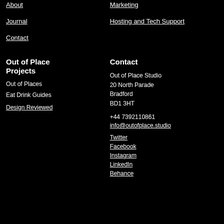About
Marketing
Journal
Hosting and Tech Support
Contact
Out of Place Projects
Contact
Out of Places
Out of Place Studio
20 North Parade
Bradford
BD1 3HT
Eat Drink Guides
+44 7392110861
Design Reviewed
info@outofplace.studio
Twitter
Facebook
Instagram
LinkedIn
Behance